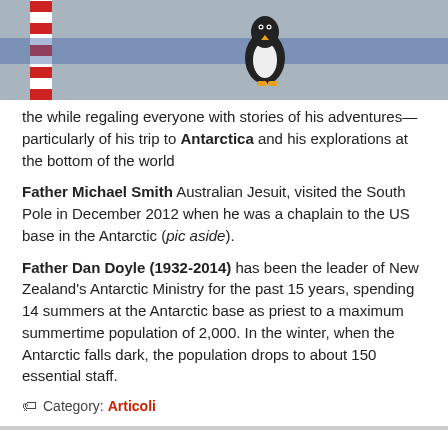[Figure (photo): A photograph showing a red and white striped pole and a penguin (black and white bird) against a grey/blue background with horizontal blue stripe]
the while regaling everyone with stories of his adventures—particularly of his trip to Antarctica and his explorations at the bottom of the world
Father Michael Smith Australian Jesuit, visited the South Pole in December 2012 when he was a chaplain to the US base in the Antarctic (pic aside).
Father Dan Doyle (1932-2014) has been the leader of New Zealand's Antarctic Ministry for the past 15 years, spending 14 summers at the Antarctic base as priest to a maximum summertime population of 2,000. In the winter, when the Antarctic falls dark, the population drops to about 150 essential staff.
Category: Articoli
Horn Island Meteo Station